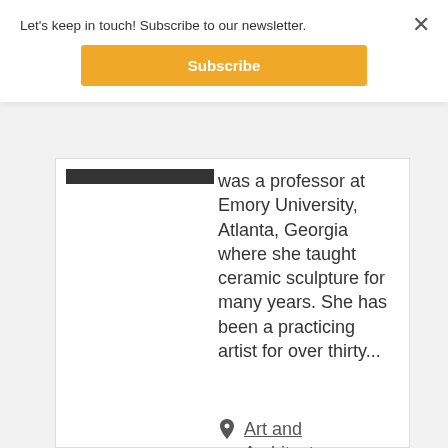Let's keep in touch! Subscribe to our newsletter.
[Figure (other): Orange Subscribe button]
was a professor at Emory University, Atlanta, Georgia where she taught ceramic sculpture for many years. She has been a practicing artist for over thirty...
Art and Architecture Building, Ewing Gallery, Room 115
10am